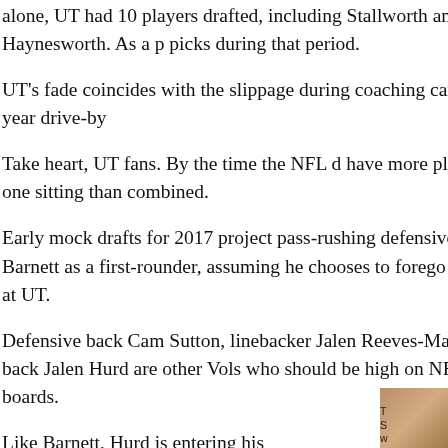alone, UT had 10 players drafted, including Stallworth and Albert Haynesworth. As a period, picks during that period.
UT's fade coincides with the slippage during coaching career, Kiffin's one-year drive-by
Take heart, UT fans. By the time the NFL d have more players picked in one sitting than combined.
Early mock drafts for 2017 project pass-rushing defensive end Derek Barnett as a first-rounder, assuming he chooses to forego his senior season at UT.
Defensive back Cam Sutton, linebacker Jalen Reeves-Maybin and running back Jalen Hurd are other Vols who should be high on NFL teams' draft boards.
Like Barnett, Hurd is entering his
[Figure (photo): Partial photo visible at right edge of page, appears to be a person, cropped]